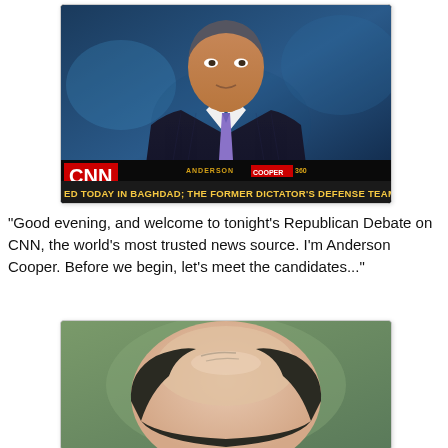[Figure (screenshot): CNN Anderson Cooper 360 broadcast screenshot showing a male news anchor in a dark pinstripe suit with a purple tie. CNN logo visible in lower left. Chyron reads: 'ED TODAY IN BAGHDAD; THE FORMER DICTATOR'S DEFENSE TEAM W'. 'ANDERSON COOPER 360' text visible in lower right.]
"Good evening, and welcome to tonight's Republican Debate on CNN, the world's most trusted news source. I'm Anderson Cooper. Before we begin, let's meet the candidates..."
[Figure (photo): Close-up photo of a balding man's head from above, showing dark hair around the sides and back, on a blurred background.]